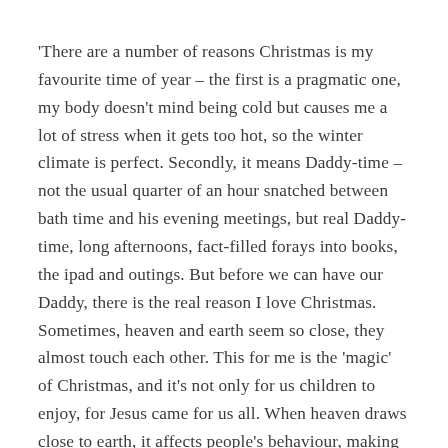‘There are a number of reasons Christmas is my favourite time of year – the first is a pragmatic one, my body doesn’t mind being cold but causes me a lot of stress when it gets too hot, so the winter climate is perfect. Secondly, it means Daddy-time – not the usual quarter of an hour snatched between bath time and his evening meetings, but real Daddy-time, long afternoons, fact-filled forays into books, the ipad and outings. But before we can have our Daddy, there is the real reason I love Christmas. Sometimes, heaven and earth seem so close, they almost touch each other. This for me is the ‘magic’ of Christmas, and it’s not only for us children to enjoy, for Jesus came for us all. When heaven draws close to earth, it affects people’s behaviour, making them jollier, more generous and gentler.’